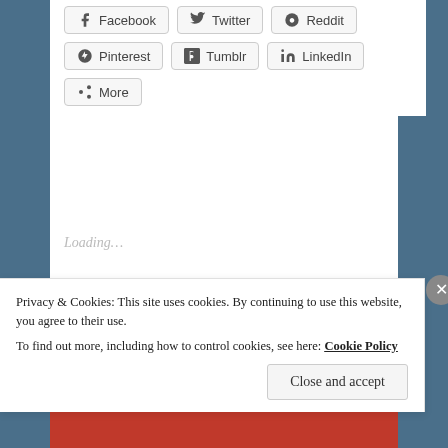[Figure (screenshot): Social share buttons: Facebook, Twitter, Reddit, Pinterest, Tumblr, LinkedIn, More]
Loading...
RELATED
Regency Furnishings: the Bergère
The Princess Biographer – Holland
Privacy & Cookies: This site uses cookies. By continuing to use this website, you agree to their use. To find out more, including how to control cookies, see here: Cookie Policy
Close and accept